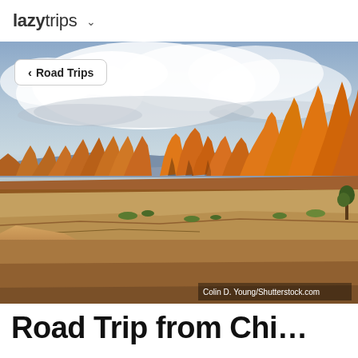lazytrips ▾
< Road Trips
[Figure (photo): Panoramic view of red rock canyon formations under a dramatic cloudy sky at golden hour, showing layered sandstone spires and mesas typical of the American Southwest (Canyonlands/Utah area). Photo credit: Colin D. Young/Shutterstock.com]
Colin D. Young/Shutterstock.com
Road Trip from Chi…